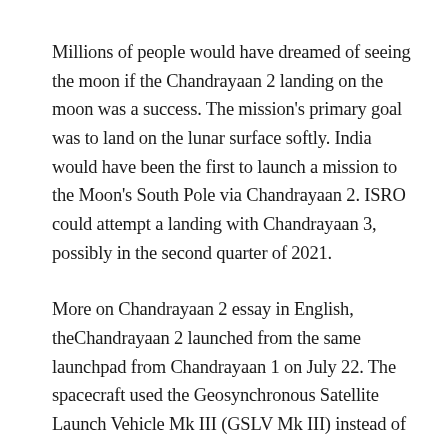Millions of people would have dreamed of seeing the moon if the Chandrayaan 2 landing on the moon was a success. The mission's primary goal was to land on the lunar surface softly. India would have been the first to launch a mission to the Moon's South Pole via Chandrayaan 2. ISRO could attempt a landing with Chandrayaan 3, possibly in the second quarter of 2021.
More on Chandrayaan 2 essay in English, theChandrayaan 2 launched from the same launchpad from Chandrayaan 1 on July 22. The spacecraft used the Geosynchronous Satellite Launch Vehicle Mk III (GSLV Mk III) instead of